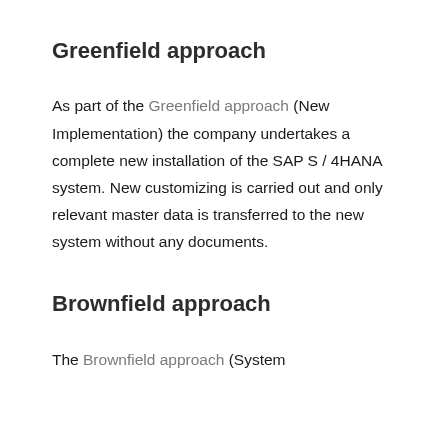Greenfield approach
As part of the Greenfield approach (New Implementation) the company undertakes a complete new installation of the SAP S / 4HANA system. New customizing is carried out and only relevant master data is transferred to the new system without any documents.
Brownfield approach
The Brownfield approach (System